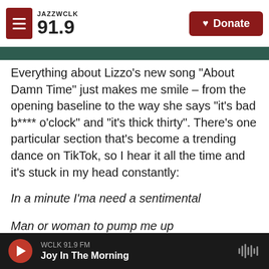JAZZ WCLK 91.9 — Donate
Everything about Lizzo's new song "About Damn Time" just makes me smile – from the opening baseline to the way she says "it's bad b**** o'clock" and "it's thick thirty". There's one particular section that's become a trending dance on TikTok, so I hear it all the time and it's stuck in my head constantly:
In a minute I'ma need a sentimental
Man or woman to pump me up
Feeling fussy, walkin' in my Balenci-ussy's
WCLK 91.9 FM — Joy In The Morning